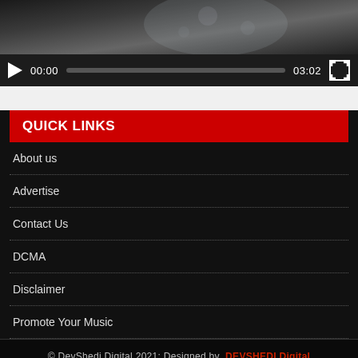[Figure (screenshot): Video player with dark thumbnail showing decorative elements and a media control bar with play button, 00:00 timestamp, progress bar, 03:02 duration, and fullscreen button.]
QUICK LINKS
About us
Advertise
Contact Us
DCMA
Disclaimer
Promote Your Music
© DevShedi Digital 2021: Designed by DEVSHEDI Digital MP3 DOWNLOAD · MUSIC DOWNLOAD